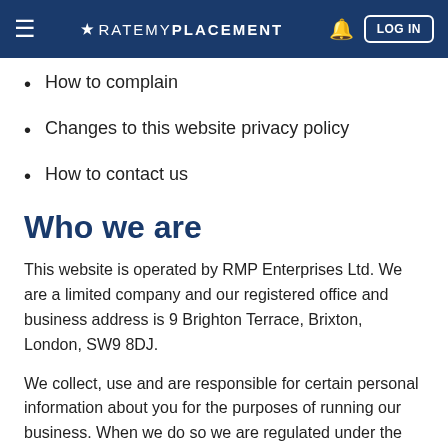★ RATEMYPLACEMENT  LOG IN
How to complain
Changes to this website privacy policy
How to contact us
Who we are
This website is operated by RMP Enterprises Ltd. We are a limited company and our registered office and business address is 9 Brighton Terrace, Brixton, London, SW9 8DJ.
We collect, use and are responsible for certain personal information about you for the purposes of running our business. When we do so we are regulated under the General Data Protection Regulation which applies